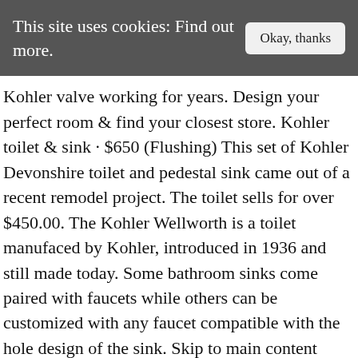This site uses cookies: Find out more.  Okay, thanks
Kohler valve working for years. Design your perfect room & find your closest store. Kohler toilet & sink · $650 (Flushing) This set of Kohler Devonshire toilet and pedestal sink came out of a recent remodel project. The toilet sells for over $450.00. The Kohler Wellworth is a toilet manufaced by Kohler, introduced in 1936 and still made today. Some bathroom sinks come paired with faucets while others can be customized with any faucet compatible with the hole design of the sink. Skip to main content (800) 375-3403. Date published: 2019-08-20. $128.13 $ 128. This piece is in a light blueish-green color, possibly Tea Green or Seafoam Green in Kohler's colors.